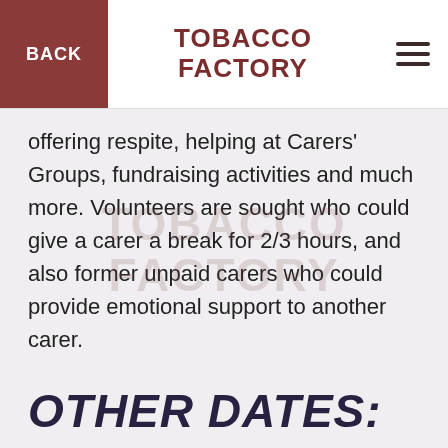BACK | TOBACCO FACTORY | ≡
offering respite, helping at Carers' Groups, fundraising activities and much more. Volunteers are sought who could give a carer a break for 2/3 hours, and also former unpaid carers who could provide emotional support to another carer.
OTHER DATES:
Monday 17 Feb & Tues 18 Feb
No Meet Up (Half term)